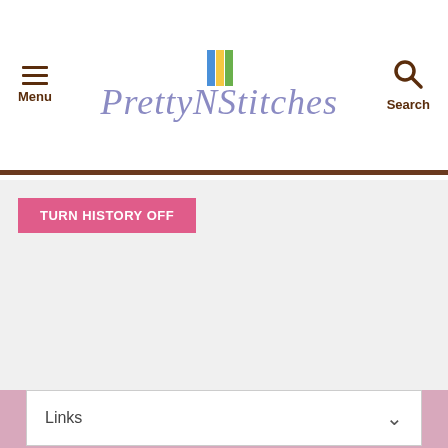PrettyNStitches — Menu | Search
TURN HISTORY OFF
Links
MAILING LIST
Subscribe to our Newsletter
Email Address
Subscribe  Unsubscribe